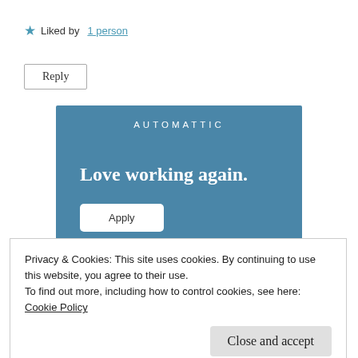★ Liked by 1 person
Reply
[Figure (infographic): Automattic advertisement banner with blue background. Header reads 'AUTOMATTIC' in white spaced letters. Large bold white text says 'Love working again.' with a white 'Apply' button below.]
Privacy & Cookies: This site uses cookies. By continuing to use this website, you agree to their use.
To find out more, including how to control cookies, see here:
Cookie Policy
Close and accept